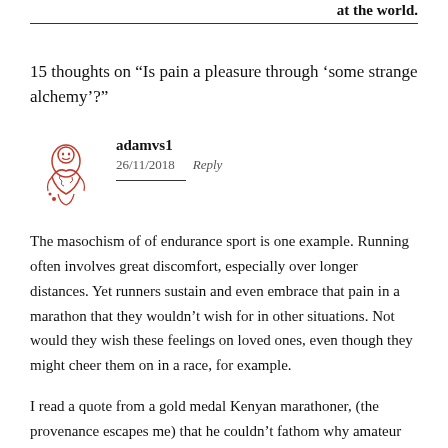at the world.
15 thoughts on “Is pain a pleasure through ‘some strange alchemy’?”
adamvs1
26/11/2018   Reply
The masochism of of endurance sport is one example. Running often involves great discomfort, especially over longer distances. Yet runners sustain and even embrace that pain in a marathon that they wouldn’t wish for in other situations. Not would they wish these feelings on loved ones, even though they might cheer them on in a race, for example.
I read a quote from a gold medal Kenyan marathoner, (the provenance escapes me) that he couldn’t fathom why amateur marathoners do it. He said he was in total, physical suffering for